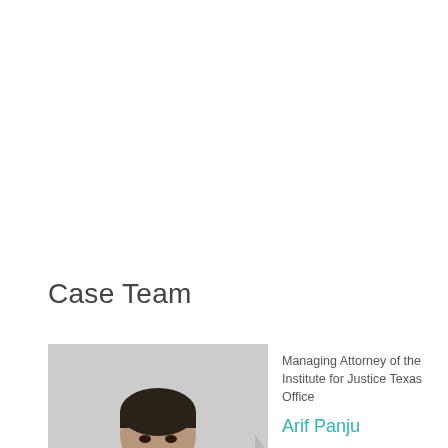Case Team
[Figure (photo): Headshot photo of Arif Panju against a light grey background]
Managing Attorney of the Institute for Justice Texas Office
Arif Panju